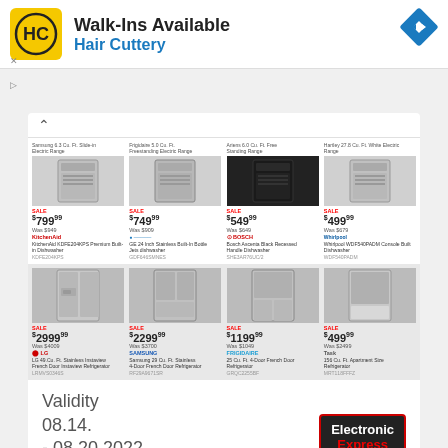[Figure (screenshot): Hair Cuttery advertisement banner with yellow HC logo, 'Walk-Ins Available' heading, blue navigation diamond icon, and ad meta indicators]
[Figure (screenshot): Electronic Express appliance advertisement showing dishwashers priced at $799, $749, $549, $499 and refrigerators priced at $2999, $2299, $1199, $499 with validity dates 08.14.-08.20.2022]
Advertisements